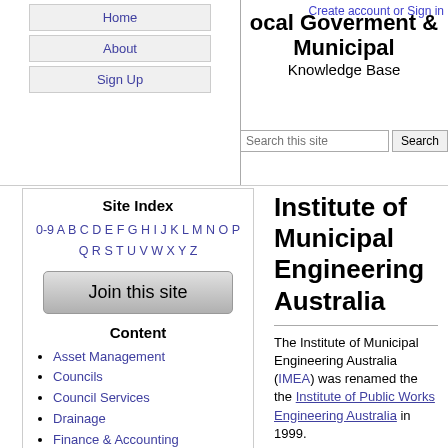Local Goverment & Municipal Knowledge Base
Create account or Sign in
Site Index
0-9 A B C D E F G H I J K L M N O P Q R S T U V W X Y Z
Join this site
Content
Asset Management
Councils
Council Services
Drainage
Finance & Accounting
Forum
Free Stuff
Glossary
Health & Safety
Help / Tutorial
How to contribute
Ideas & Suggestions
Institute of Municipal Engineering Australia
The Institute of Municipal Engineering Australia (IMEA) was renamed the the Institute of Public Works Engineering Australia in 1999.
External Links & References
Google Search